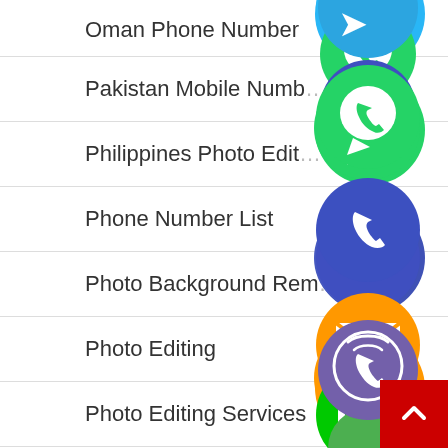Oman Phone Number
Pakistan Mobile Number
Philippines Photo Editing
Phone Number List
Photo Background Removing
Photo Editing
Photo Editing Services
Photo Restoration
Photo Retouching
[Figure (infographic): Floating social/communication app icons: WhatsApp (green), Phone/Viber (blue-purple), Email (orange), LINE (green), Viber (purple), close/X (green), partially visible Telegram (blue) at top]